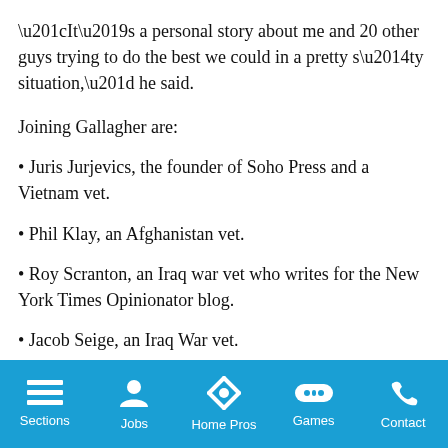“It’s a personal story about me and 20 other guys trying to do the best we could in a pretty s—ty situation,” he said.
Joining Gallagher are:
• Juris Jurjevics, the founder of Soho Press and a Vietnam vet.
• Phil Klay, an Afghanistan vet.
• Roy Scranton, an Iraq war vet who writes for the New York Times Opinionator blog.
• Jacob Seige, an Iraq War vet.
“It’s not going to be pretentious,” Crawford said. “But the question-and-answer session should be the best part.”
Sections | Jobs | Home Pros | Games | Contact